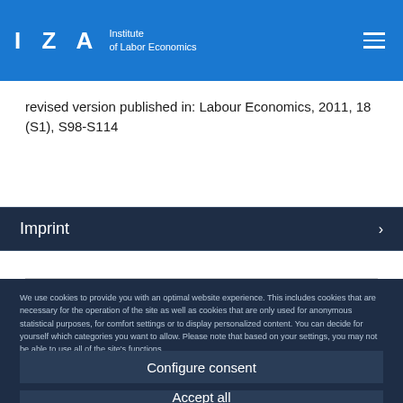I Z A  Institute of Labor Economics
revised version published in: Labour Economics, 2011, 18 (S1), S98-S114
Imprint
We use cookies to provide you with an optimal website experience. This includes cookies that are necessary for the operation of the site as well as cookies that are only used for anonymous statistical purposes, for comfort settings or to display personalized content. You can decide for yourself which categories you want to allow. Please note that based on your settings, you may not be able to use all of the site's functions.
Configure consent
Accept all